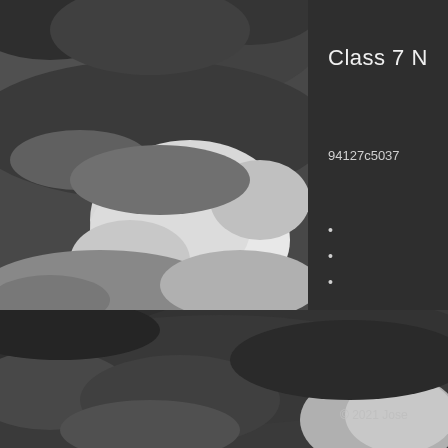[Figure (photo): Grayscale photograph of dramatic storm clouds with strong contrast between light and dark cloud formations, occupying the top-left portion of the page.]
Class 7 N
94127c5037
•
•
•
[Figure (photo): Grayscale photograph of dark storm clouds, occupying the full bottom section of the page.]
© 2021 Jose